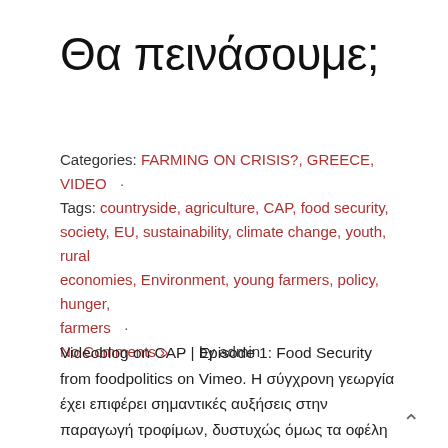Θα πεινάσουμε;
Categories: FARMING ON CRISIS?, GREECE, VIDEO  •  Tags: countryside, agriculture, CAP, food security, society, EU, sustainability, climate change, youth, rural economies, Environment, young farmers, policy, hunger, farmers  •  No Comments »  •  by admin
Videoblog on CAP | Episode 1: Food Security from foodpolitics on Vimeo. Η σύγχρονη γεωργία έχει επιφέρει σημαντικές αυξήσεις στην παραγωγή τροφίμων, δυστυχώς όμως τα οφέλη τους συνεχίζουν να μην…